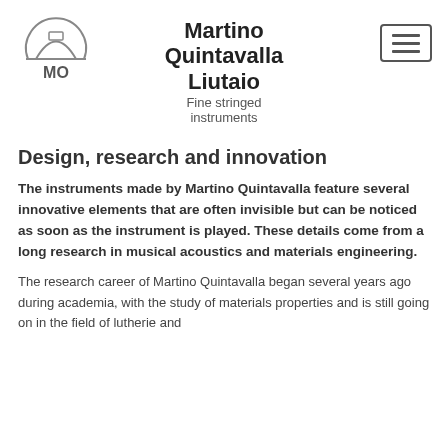[Figure (logo): Circular logo with guitar/instrument silhouette outline at top, horizontal line in middle, and 'MO' text below inside the circle]
Martino Quintavalla Liutaio
Fine stringed instruments
Design, research and innovation
The instruments made by Martino Quintavalla feature several innovative elements that are often invisible but can be noticed as soon as the instrument is played. These details come from a long research in musical acoustics and materials engineering.
The research career of Martino Quintavalla began several years ago during academia, with the study of materials properties and is still going on in the field of lutherie and